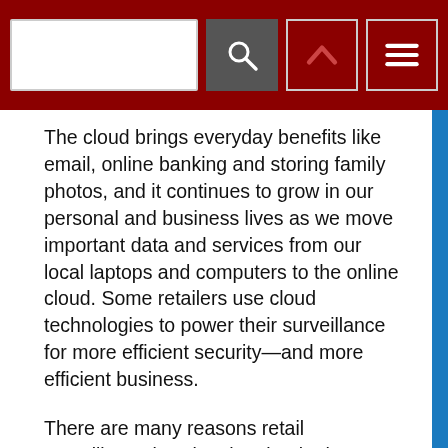[Figure (screenshot): Dark red navigation header bar with a white search input box, a dark grey search button with magnifying glass icon, and two outlined icon buttons (chevron up and hamburger menu) on the right.]
The cloud brings everyday benefits like email, online banking and storing family photos, and it continues to grow in our personal and business lives as we move important data and services from our local laptops and computers to the online cloud. Some retailers use cloud technologies to power their surveillance for more efficient security—and more efficient business.
There are many reasons retail surveillance is using the cloud. The benefits of cloud-powered surveillance include live remote monitoring and recorded video searching from a single website, online video storage, collaborative sharing of video clips and centralized management and maintenance of cameras and